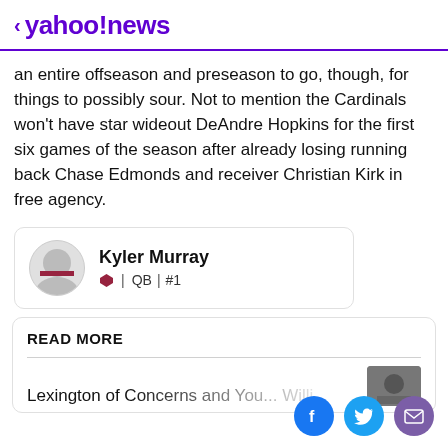< yahoo!news
an entire offseason and preseason to go, though, for things to possibly sour. Not to mention the Cardinals won't have star wideout DeAndre Hopkins for the first six games of the season after already losing running back Chase Edmonds and receiver Christian Kirk in free agency.
[Figure (other): Player card for Kyler Murray, QB #1 for the Arizona Cardinals, showing a circular headshot photo]
READ MORE
[Figure (screenshot): Partially visible article preview with thumbnail image, text blurred/cropped]